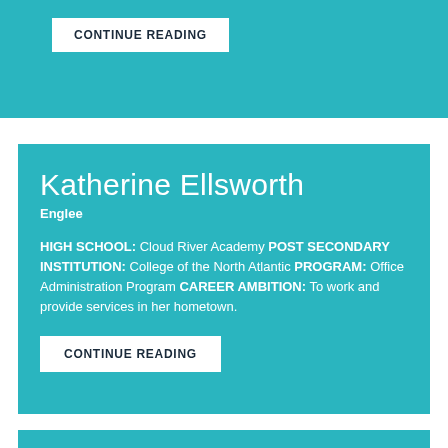CONTINUE READING
Katherine Ellsworth
Englee
HIGH SCHOOL: Cloud River Academy POST SECONDARY INSTITUTION: College of the North Atlantic PROGRAM: Office Administration Program CAREER AMBITION: To work and provide services in her hometown.
CONTINUE READING